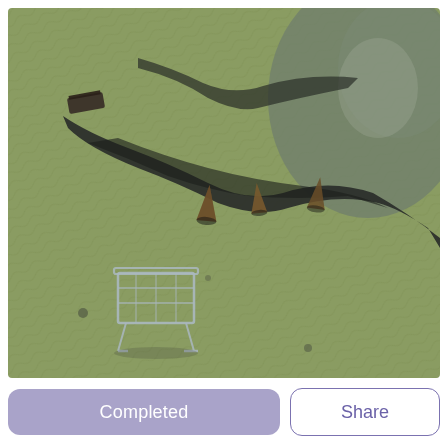[Figure (photo): Aerial/drone photograph of a tidal flat or mudflat with rippled sandy/mossy green-toned surface. A dark water channel snakes through the middle of the scene. Several wooden boat hulks or shipwrecks are partially submerged in the dark channel water. A shopping cart lies on the rippled flat in the lower left. The upper right area transitions to darker wet mudflat. Overall tones are muted green, grey, and brown.]
Completed
Share